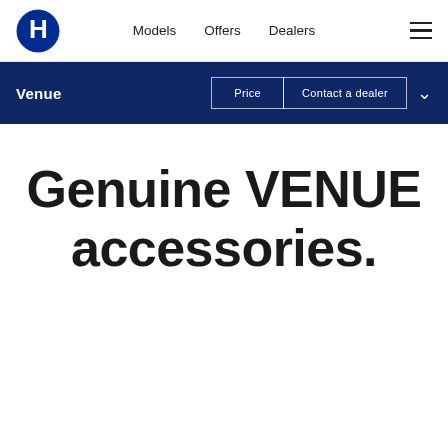[Figure (logo): Hyundai H logo in blue oval]
Models  Offers  Dealers
Venue
Price  Contact a dealer
Genuine VENUE accessories.